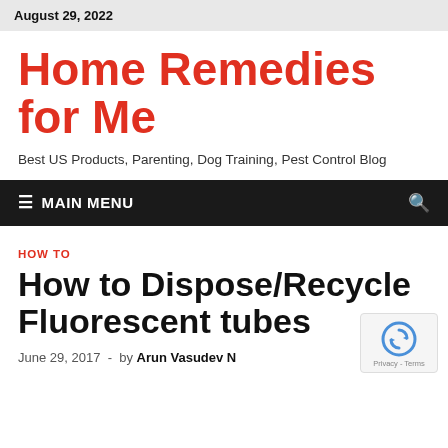August 29, 2022
Home Remedies for Me
Best US Products, Parenting, Dog Training, Pest Control Blog
MAIN MENU
HOW TO
How to Dispose/Recycle Fluorescent tubes
June 29, 2017 - by Arun Vasudev N